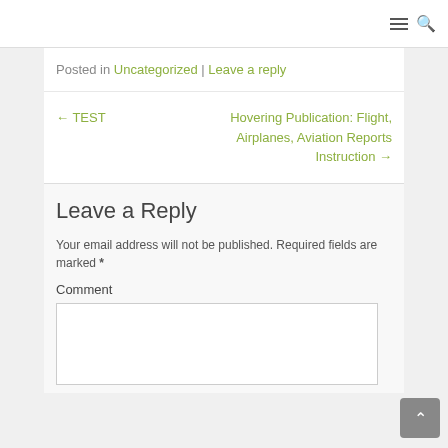☰ 🔍
Posted in Uncategorized | Leave a reply
← TEST
Hovering Publication: Flight, Airplanes, Aviation Reports Instruction →
Leave a Reply
Your email address will not be published. Required fields are marked *
Comment